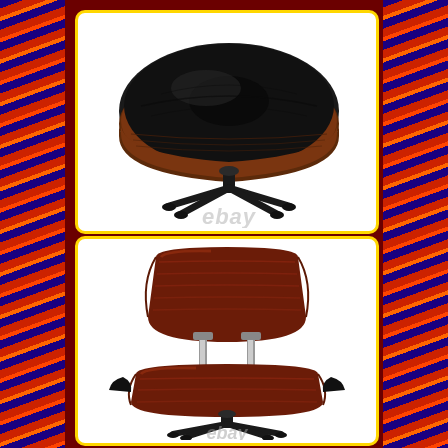[Figure (photo): eBay product listing image showing an Eames-style lounge chair ottoman from above/side angle. The ottoman has a black leather cushion top and dark rosewood veneer shell with a black 4-star base. An 'ebay' watermark appears at the bottom.]
[Figure (photo): eBay product listing image showing the back view of an Eames-style lounge chair. The chair has dark rosewood veneer shell panels connected by chrome struts/connectors, with black leather padding visible and a 4-star black base. An 'ebay' watermark appears at the bottom.]